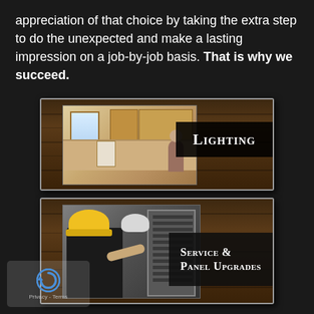appreciation of that choice by taking the extra step to do the unexpected and make a lasting impression on a job-by-job basis. That is why we succeed.
[Figure (photo): Promotional card for Lighting services showing a kitchen interior photo on the left and a dark wood-paneled background with 'LIGHTING' text label on the right]
[Figure (photo): Promotional card for Service & Panel Upgrades showing a worker in a yellow hard hat pointing at an electrical panel, with 'SERVICE & PANEL UPGRADES' text label on the right]